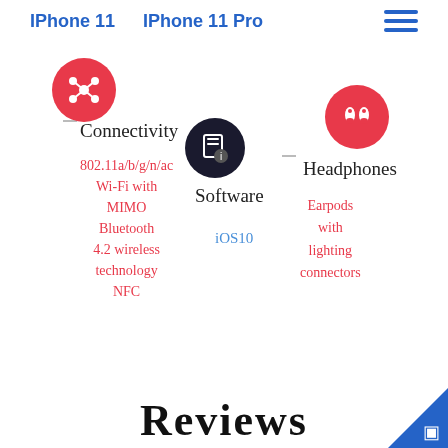IPhone 11   IPhone 11 Pro
[Figure (infographic): Connectivity icon: red circle with network/share symbol]
Connectivity
802.11a/b/g/n/ac Wi-Fi with MIMO
Bluetooth 4.2 wireless technology
NFC
[Figure (infographic): Software icon: dark circle with document/info symbol]
Software
iOS10
[Figure (infographic): Headphones icon: red circle with AirPods symbol]
Headphones
Earpods with lighting connectors
Reviews